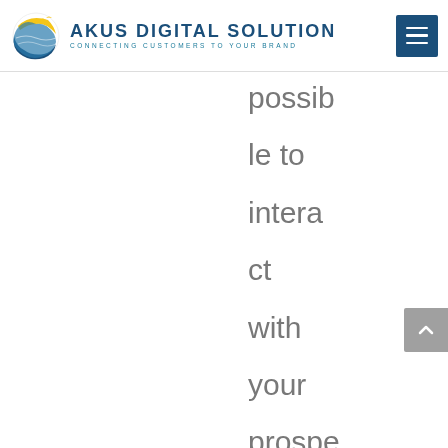AKUS DIGITAL SOLUTION — CONNECTING CUSTOMERS TO YOUR BRAND
possible to interact with your prospective customers and